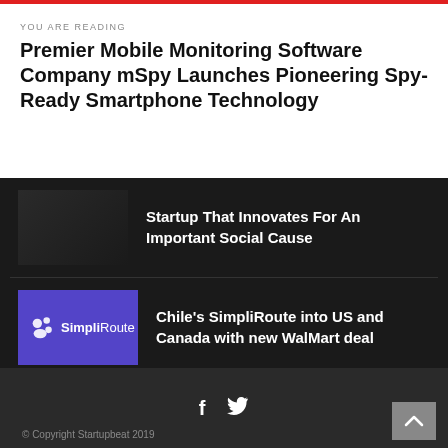YOU ARE READING
Premier Mobile Monitoring Software Company mSpy Launches Pioneering Spy-Ready Smartphone Technology
Startup That Innovates For An Important Social Cause
[Figure (photo): Dark thumbnail image]
Chile's SimpliRoute into US and Canada with new WalMart deal
[Figure (logo): SimpliRoute logo on blue background]
Founders take note: ULTRA can help you scale your cloud practice
[Figure (photo): Person holding tablet and phone]
© Copyright Startupbeat 2019